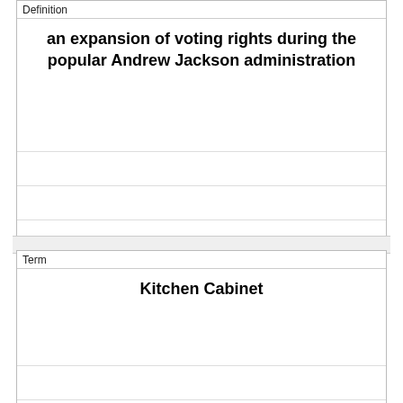| Definition |
| --- |
| an expansion of voting rights during the popular Andrew Jackson administration |
| Term |
| --- |
| Kitchen Cabinet |